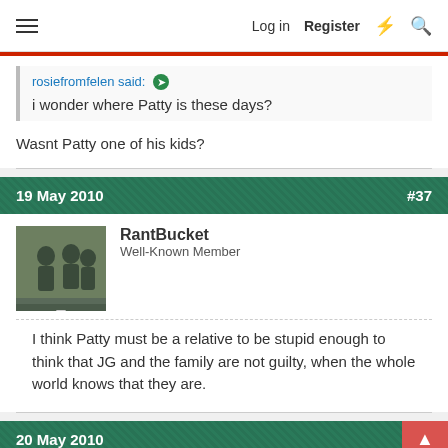Log in  Register
rosiefromfelen said:
i wonder where Patty is these days?
Wasnt Patty one of his kids?
19 May 2010  #37
RantBucket
Well-Known Member
I think Patty must be a relative to be stupid enough to think that JG and the family are not guilty, when the whole world knows that they are.
20 May 2010  #38
ABCDEF